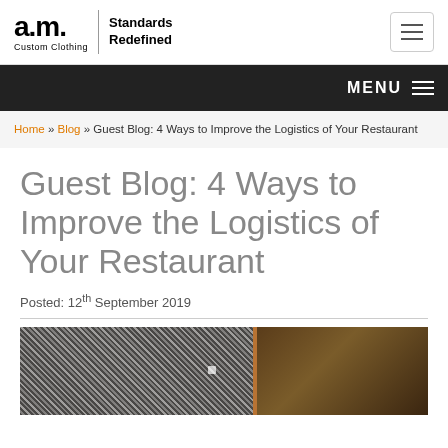a.m. Custom Clothing | Standards Redefined
MENU
Home » Blog » Guest Blog: 4 Ways to Improve the Logistics of Your Restaurant
Guest Blog: 4 Ways to Improve the Logistics of Your Restaurant
Posted: 12th September 2019
[Figure (photo): Dark restaurant interior showing checkered fabric texture on the left and warm wooden tones on the right]